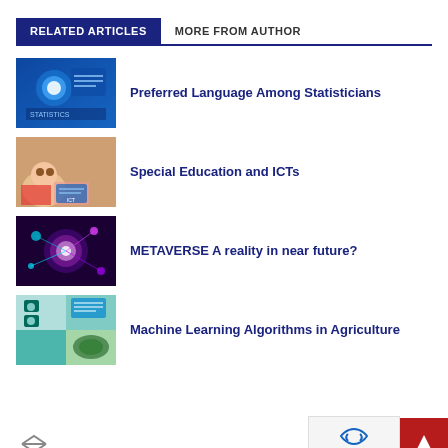RELATED ARTICLES | MORE FROM AUTHOR
Preferred Language Among Statisticians
Special Education and ICTs
METAVERSE A reality in near future?
Machine Learning Algorithms in Agriculture